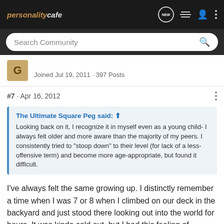personalitycafe
Search Community
Joined Jul 19, 2011 · 397 Posts
#7 · Apr 16, 2012
The Ultimate Square Peg said: ⊕
Looking back on it, I recognize it in myself even as a young child- I always felt older and more aware than the majority of my peers. I consistently tried to "stoop down" to their level (for lack of a less-offensive term) and become more age-appropriate, but found it difficult.
I've always felt the same growing up. I distinctly remember a time when I was 7 or 8 when I climbed on our deck in the backyard and just stood there looking out into the world for hours. It was kinda cold out, but I had this feeling of meditative